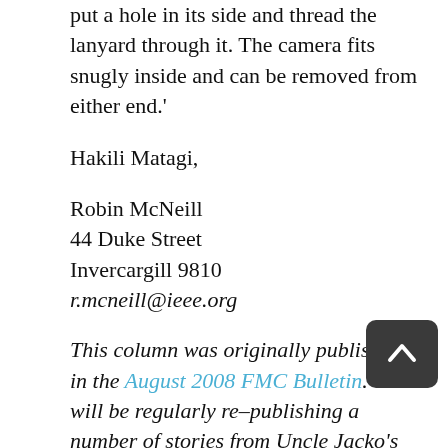put a hole in its side and thread the lanyard through it. The camera fits snugly inside and can be removed from either end.'
Hakili Matagi,
Robin McNeill
44 Duke Street
Invercargill 9810
r.mcneill@ieee.org
This column was originally published in the August 2008 FMC Bulletin. We will be regularly re-publishing a number of stories from Uncle Jacko's Cookery Column here on Wilderlife.